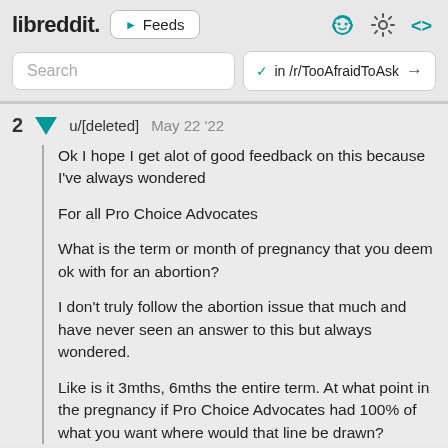libreddit. ▶ Feeds
Search  ✓ in /r/TooAfraidToAsk →
2  ▼  u/[deleted]  May 22 '22

Ok I hope I get alot of good feedback on this because I've always wondered

For all Pro Choice Advocates

What is the term or month of pregnancy that you deem ok with for an abortion?

I don't truly follow the abortion issue that much and have never seen an answer to this but always wondered.

Like is it 3mths, 6mths the entire term. At what point in the pregnancy if Pro Choice Advocates had 100% of what you want where would that line be drawn?